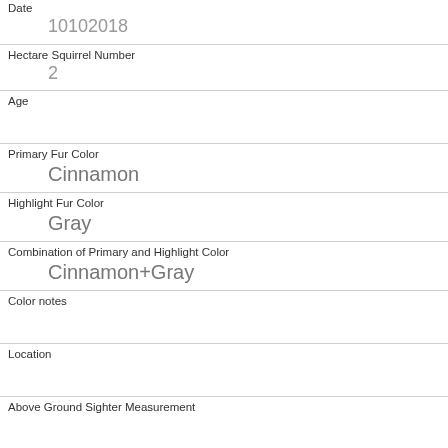| Field | Value |
| --- | --- |
| Date | 10102018 |
| Hectare Squirrel Number | 2 |
| Age |  |
| Primary Fur Color | Cinnamon |
| Highlight Fur Color | Gray |
| Combination of Primary and Highlight Color | Cinnamon+Gray |
| Color notes |  |
| Location |  |
| Above Ground Sighter Measurement |  |
| Specific Location |  |
| Running |  |